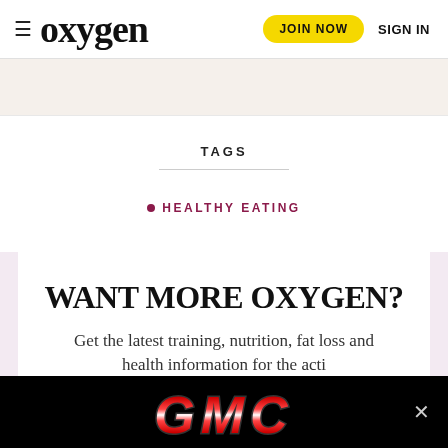≡ oxygen  JOIN NOW  SIGN IN
[Figure (other): Light beige/cream colored advertisement bar]
TAGS
• HEALTHY EATING
WANT MORE OXYGEN?
Get the latest training, nutrition, fat loss and health information for the active...
[Figure (other): GMC advertisement banner with red metallic GMC lettering on black background with a close button]